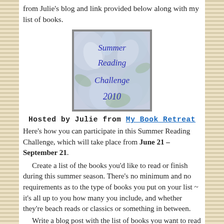from Julie's blog and link provided below along with my list of books.
[Figure (illustration): Summer Reading Challenge 2010 badge with floral background, text reads 'Summer Reading Challenge 2010' in blue handwritten style font]
Hosted by Julie from My Book Retreat
Here's how you can participate in this Summer Reading Challenge, which will take place from June 21 – September 21.
Create a list of the books you'd like to read or finish during this summer season. There's no minimum and no requirements as to the type of books you put on your list ~ it's all up to you how many you include, and whether they're beach reads or classics or something in between.
Write a blog post with the list of books you want to read ~ and any other summer reading goals ~ and post it on your